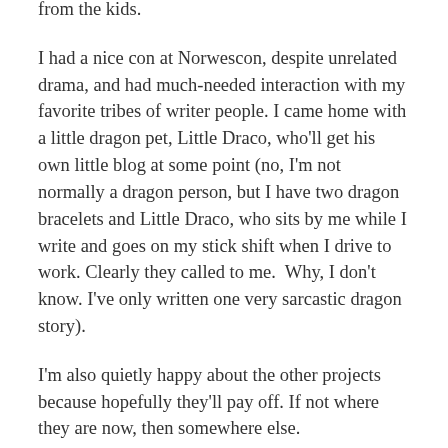from the kids.
I had a nice con at Norwescon, despite unrelated drama, and had much-needed interaction with my favorite tribes of writer people. I came home with a little dragon pet, Little Draco, who'll get his own little blog at some point (no, I'm not normally a dragon person, but I have two dragon bracelets and Little Draco, who sits by me while I write and goes on my stick shift when I drive to work. Clearly they called to me.  Why, I don't know. I've only written one very sarcastic dragon story).
I'm also quietly happy about the other projects because hopefully they'll pay off. If not where they are now, then somewhere else.
I'm happy about the package I put together for